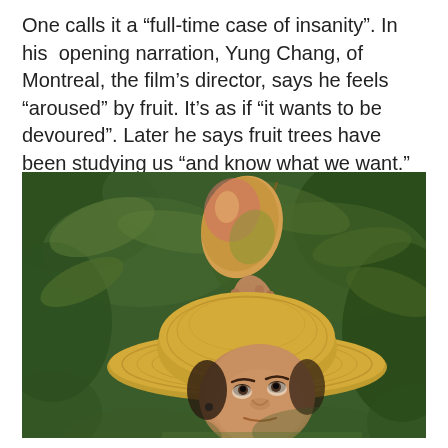One calls it a “full-time case of insanity”. In his opening narration, Yung Chang, of Montreal, the film’s director, says he feels “aroused” by fruit. It’s as if “it wants to be devoured”. Later he says fruit trees have been studying us “and know what we want.”
[Figure (photo): A woman wearing a wide-brimmed straw hat holds up a mango by its stem with one hand, looking up at it against a lush green leafy background.]